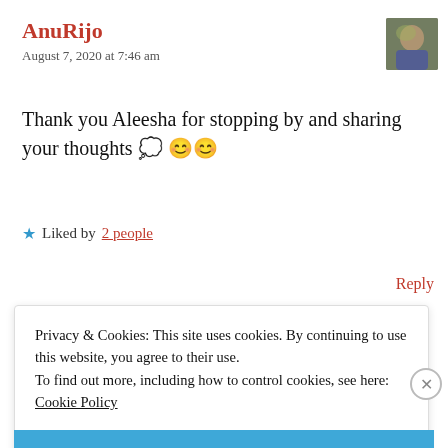AnuRijo
August 7, 2020 at 7:46 am
[Figure (photo): User avatar photo of a person outdoors]
Thank you Aleesha for stopping by and sharing your thoughts 💭 😊😊
★ Liked by 2 people
Reply
Privacy & Cookies: This site uses cookies. By continuing to use this website, you agree to their use.
To find out more, including how to control cookies, see here: Cookie Policy
Close and accept